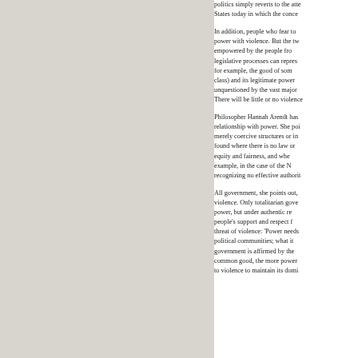politics simply reverts to the atte States today in which the conce

In addition, people who fear to power with violence. But the tw empowered by the people fro legislative processes can repres for example, the good of som class) and its legitimate power unquestioned by the vast major There will be little or no violence

Philosopher Hannah Arendt has relationship with power. She poi merely coercive structures or in found where there is no law or equity and fairness, and whe example, in the case of the N recognizing no effective authorit

All government, she points out, violence. Only totalitarian gove power, but under authentic re people's support and respect f threat of violence: 'Power needs political communities; what it government is affirmed by the common good, the more power to violence to maintain its domi